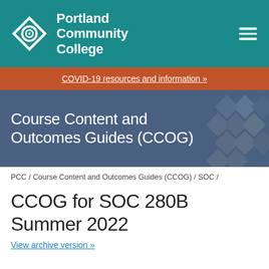Portland Community College
COVID-19 resources and information »
Course Content and Outcomes Guides (CCOG)
PCC / Course Content and Outcomes Guides (CCOG) / SOC /
CCOG for SOC 280B Summer 2022
View archive version »